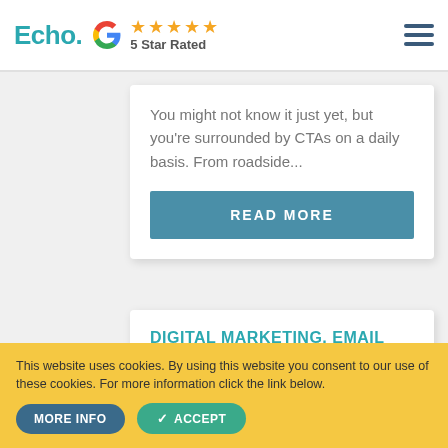Echo. [Google logo] ★★★★★ 5 Star Rated [hamburger menu]
You might not know it just yet, but you're surrounded by CTAs on a daily basis. From roadside...
READ MORE
DIGITAL MARKETING, EMAIL MARKETING
This website uses cookies. By using this website you consent to our use of these cookies. For more information click the link below.
MORE INFO  ACCEPT